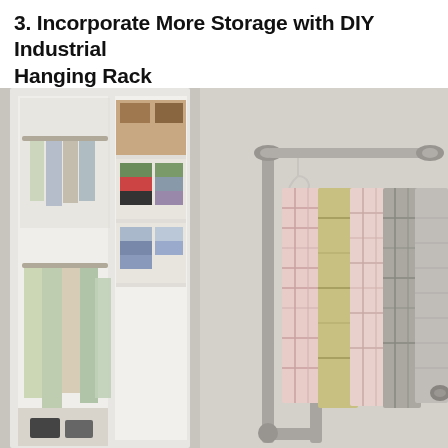3. Incorporate More Storage with DIY Industrial Hanging Rack
[Figure (photo): A DIY industrial hanging rack made from metal pipes mounted on a wall, with flannel and plaid shirts hanging from metal hangers. On the left side is a white closet system with shelves holding folded clothes in various colors and two hanging rods with casual shirts.]